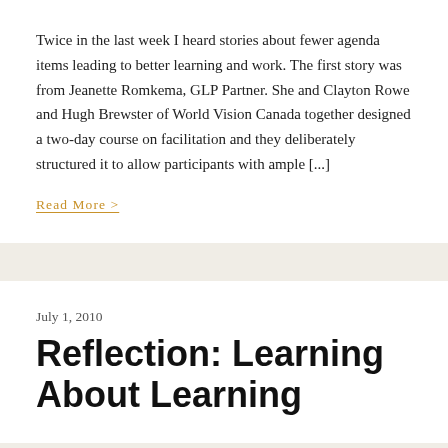Twice in the last week I heard stories about fewer agenda items leading to better learning and work. The first story was from Jeanette Romkema, GLP Partner. She and Clayton Rowe and Hugh Brewster of World Vision Canada together designed a two-day course on facilitation and they deliberately structured it to allow participants with ample [...]
Read More >
July 1, 2010
Reflection: Learning About Learning